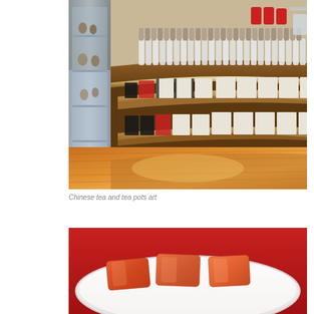[Figure (photo): Interior of a tea shop with a curved wooden display counter. The counter holds numerous tall cylindrical tea canisters in the upper row. Below the counter are two curved illuminated shelves displaying white boxed tea products and books. A glass display case with teapots is visible on the left. The floor is polished wood. The overall ambiance is warm and modern.]
Chinese tea and tea pots art
[Figure (photo): Close-up photo of slices of reddish-orange crystallized or jellied food (possibly Chinese quince jelly or similar confection) on a white plate with a red tablecloth or surface visible in the background.]